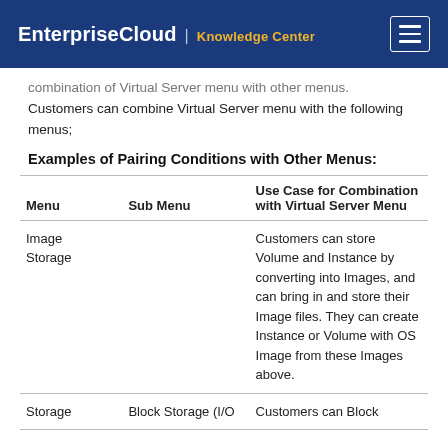Enterprise Cloud | Knowledge Center
combination of Virtual Server menu with other menus. Customers can combine Virtual Server menu with the following menus;
Examples of Pairing Conditions with Other Menus:
| Menu | Sub Menu | Use Case for Combination with Virtual Server Menu |
| --- | --- | --- |
| Image Storage |  | Customers can store Volume and Instance by converting into Images, and can bring in and store their Image files. They can create Instance or Volume with OS Image from these Images above. |
| Storage | Block Storage (I/O | Customers can Block |